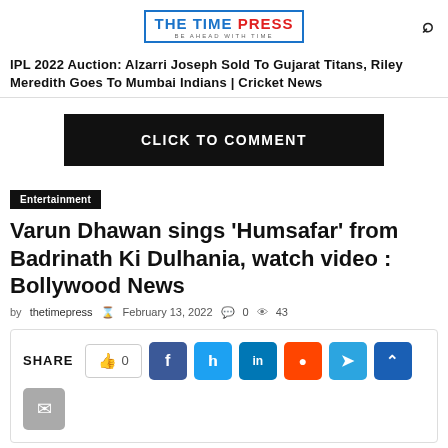THE TIME PRESS — BE AHEAD WITH TIME
IPL 2022 Auction: Alzarri Joseph Sold To Gujarat Titans, Riley Meredith Goes To Mumbai Indians | Cricket News
[Figure (other): Black button with white text: CLICK TO COMMENT]
Entertainment
Varun Dhawan sings 'Humsafar' from Badrinath Ki Dulhania, watch video : Bollywood News
by thetimepress  February 13, 2022  0  43
[Figure (other): Share bar with like button showing 0, and social share buttons: Facebook, Twitter, LinkedIn, Reddit, Telegram, scroll-up, and Email]